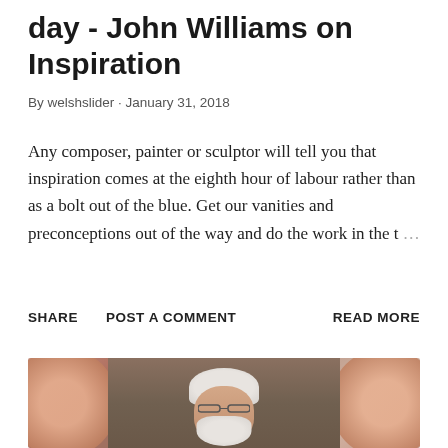day - John Williams on Inspiration
By welshslider · January 31, 2018
Any composer, painter or sculptor will tell you that inspiration comes at the eighth hour of labour rather than as a bolt out of the blue. Get our vanities and preconceptions out of the way and do the work in the t …
SHARE   POST A COMMENT   READ MORE
[Figure (photo): Elderly man with white hair and white beard wearing glasses, seen from shoulders up against a warm rosy-peach bokeh background with circular lights]